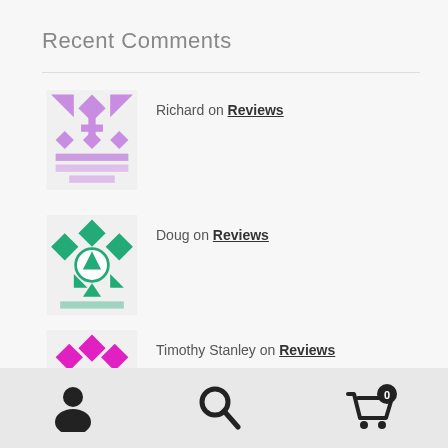Recent Comments
Richard on Reviews
Doug on Reviews
Timothy Stanley on Reviews
Gregory Eniay on About
For International orders, please contact us directly through our contact page or through our messenger button!
Dismiss